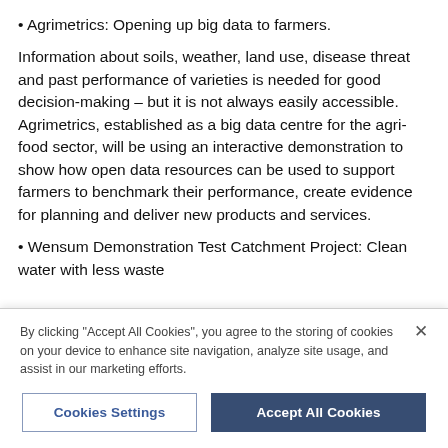Agrimetrics: Opening up big data to farmers.
Information about soils, weather, land use, disease threat and past performance of varieties is needed for good decision-making – but it is not always easily accessible. Agrimetrics, established as a big data centre for the agri-food sector, will be using an interactive demonstration to show how open data resources can be used to support farmers to benchmark their performance, create evidence for planning and deliver new products and services.
Wensum Demonstration Test Catchment Project: Clean water with less waste
By clicking "Accept All Cookies", you agree to the storing of cookies on your device to enhance site navigation, analyze site usage, and assist in our marketing efforts.